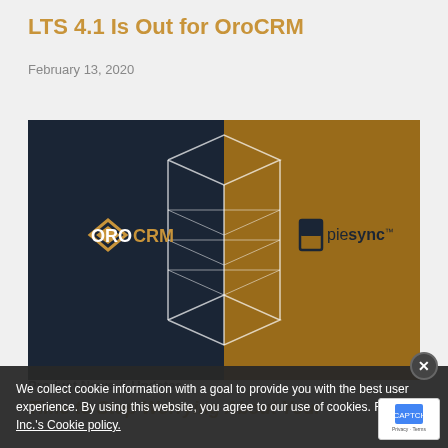LTS 4.1 Is Out for OroCRM
February 13, 2020
[Figure (illustration): Split promotional graphic: left half dark navy with OroCRM logo (gold diamond icon + 'OROCRM' text), right half dark gold/amber with PieSync logo (geometric 'P' icon + 'piesync' text). Center shows a shared wireframe geometric box/cube outline bridging both sides.]
Product News & Updates
Time to Stop Worrying About Your
We collect cookie information with a goal to provide you with the best user experience. By using this website, you agree to our use of cookies. Read Oro Inc.'s Cookie policy.